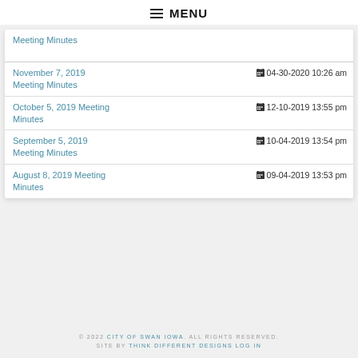MENU
| Meeting Minutes |  |
| --- | --- |
| November 7, 2019 Meeting Minutes | 04-30-2020 10:26 am |
| October 5, 2019 Meeting Minutes | 12-10-2019 13:55 pm |
| September 5, 2019 Meeting Minutes | 10-04-2019 13:54 pm |
| August 8, 2019 Meeting Minutes | 09-04-2019 13:53 pm |
© 2022 CITY OF SWAN IOWA. ALL RIGHTS RESERVED. SITE BY THINK DIFFERENT DESIGNS LOG IN